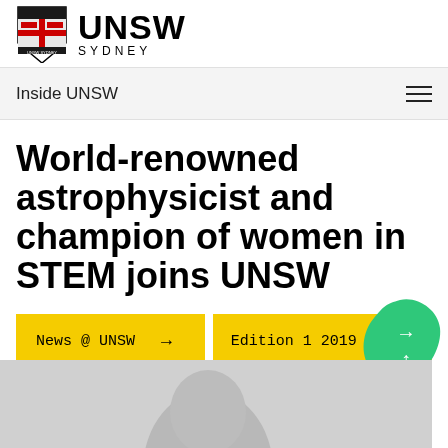[Figure (logo): UNSW Sydney logo with shield crest and wordmark]
Inside UNSW
World-renowned astrophysicist and champion of women in STEM joins UNSW
News @ UNSW →
Edition 1 2019 →
[Figure (photo): Partial photo of a person's face, greyscale, bottom of page]